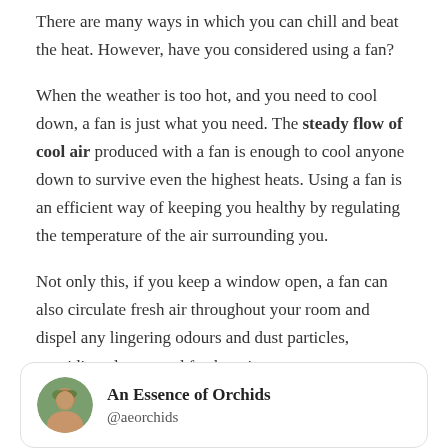There are many ways in which you can chill and beat the heat. However, have you considered using a fan?
When the weather is too hot, and you need to cool down, a fan is just what you need. The steady flow of cool air produced with a fan is enough to cool anyone down to survive even the highest heats. Using a fan is an efficient way of keeping you healthy by regulating the temperature of the air surrounding you.
Not only this, if you keep a window open, a fan can also circulate fresh air throughout your room and dispel any lingering odours and dust particles, providing cleaner and fresher air.
An Essence of Orchids
@aeorchids